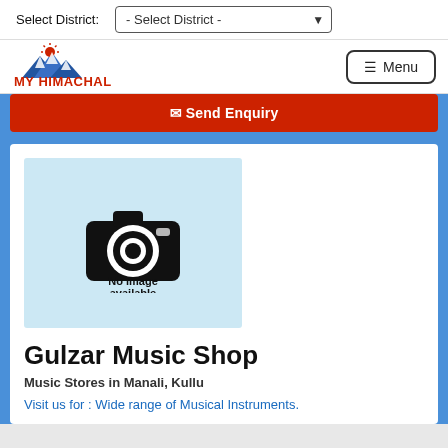Select District:  - Select District -
[Figure (logo): MY HIMACHAL mountain logo with text 'Ek Kadam DIGITAL Himachal Ki Aur']
≡ Menu
Send Enquiry
[Figure (photo): No image available placeholder with camera icon on light blue background]
Gulzar Music Shop
Music Stores in Manali, Kullu
Visit us for : Wide range of Musical Instruments.